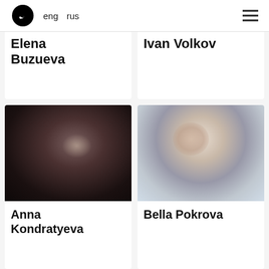eng  rus
Elena Buzueva
Ivan Volkov
[Figure (photo): Blurred dark photo of Anna Kondratyeva]
Anna Kondratyeva
[Figure (photo): Blurred light photo of Bella Pokrova]
Bella Pokrova